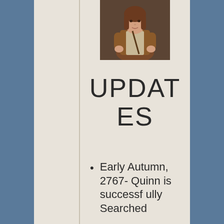[Figure (photo): A woman with brown/auburn hair wearing a brown leather jacket, standing with hands on hips in a casual pose against a blurred indoor background.]
UPDATES
Early Autumn, 2767- Quinn is successfully Searched